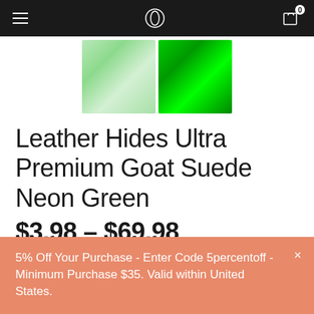Navigation header with hamburger menu, logo, and cart icon (0 items)
[Figure (photo): Two fabric swatches side by side: left is light mint/pale green goat suede, right is vibrant neon green goat suede]
Leather Hides Ultra Premium Goat Suede Neon Green
$3.98 – $69.98
★★★★★ (2 customer reviews)
5% Off Your Purchase - Enter Code 5percentoff - Minimum Purchase $35. Valid within United States.